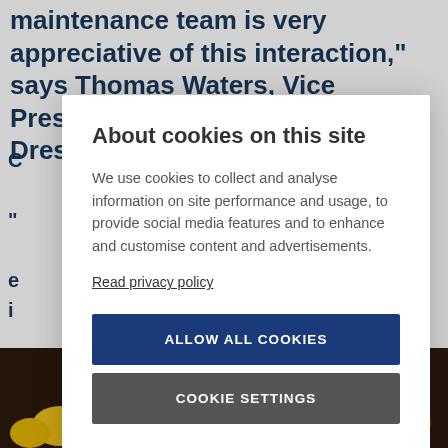maintenance team is very appreciative of this interaction," says Thomas Waters, Vice President of Operations, The Best Dressed Chicken
About cookies on this site

We use cookies to collect and analyse information on site performance and usage, to provide social media features and to enhance and customise content and advertisements.

Read privacy policy

ALLOW ALL COOKIES

COOKIE SETTINGS
[Figure (photo): Photo of roasted chicken with vegetables including tomatoes, lemon, and herbs on a dark background]